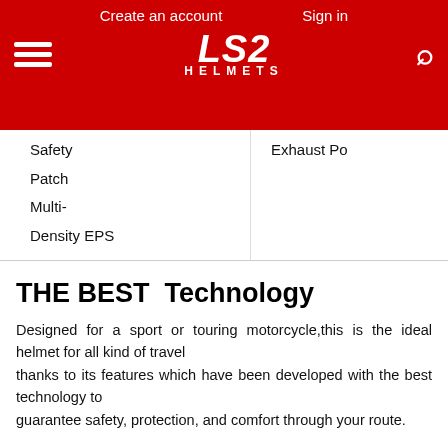Create an account   Sign in
[Figure (logo): LS2 Helmets logo with hamburger menu icon and search icon on red background]
Safety
Patch
Multi-Density EPS
Exhaust Po
THE BEST  Technology
Designed for a sport or touring motorcycle,this is the ideal helmet for all kind of travel thanks to its features which have been developed with the best technology to guarantee safety, protection, and comfort through your route.
VISOR Features
LS2 visors are built with 3D Optically Correct "A Class" Polycarbonate, a space-age polymer with high resistance to